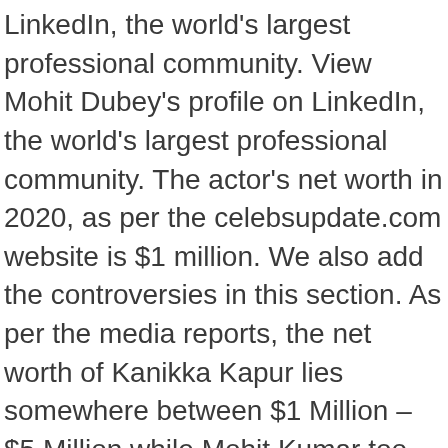LinkedIn, the world's largest professional community. View Mohit Dubey's profile on LinkedIn, the world's largest professional community. The actor's net worth in 2020, as per the celebsupdate.com website is $1 million. We also add the controversies in this section. As per the media reports, the net worth of Kanikka Kapur lies somewhere between $1 Million – $5 Million while Mohit Kumar too earns somewhere between 1-3 million dollars. Mohit Sehgal estimated Net Worth, Biography, Age, Height, Dating, Relationship Records, Salary, Income, Cars, Lifestyles & many more details have been updated below.Sanaya Irani played his love interest on Miley Jab Hum, and eventually became his real life love. Cohesity CEO Mohit Aron might be one of the most successful tech execs you've never heard of. According to police, Vikas's net worth valued in